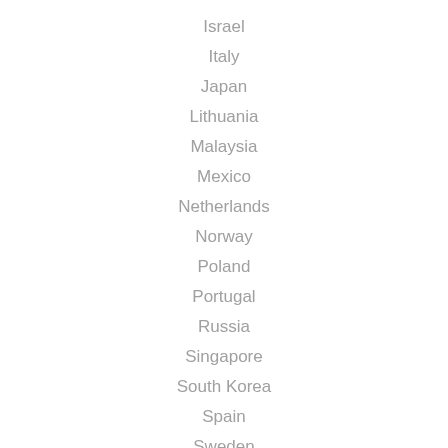Israel
Italy
Japan
Lithuania
Malaysia
Mexico
Netherlands
Norway
Poland
Portugal
Russia
Singapore
South Korea
Spain
Sweden
Switzerland